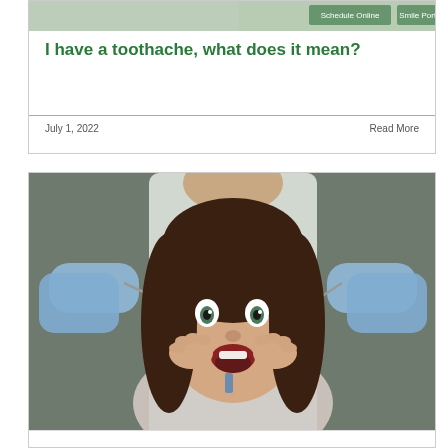[Figure (photo): Top portion of a dental office website screenshot showing navigation buttons 'Schedule Online' and 'Smile Port...' overlaid on a photo]
I have a toothache, what does it mean?
July 1, 2022
Read More
[Figure (photo): Photo of a young woman with curly dark hair looking frightened in a dental chair, holding her face with both hands, while a dentist in blue gloves holds dental instruments on either side of her]